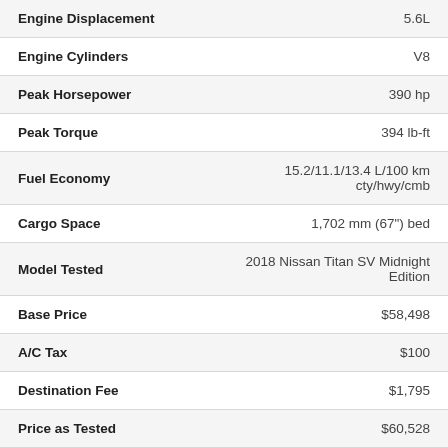| Specification | Value |
| --- | --- |
| Engine Displacement | 5.6L |
| Engine Cylinders | V8 |
| Peak Horsepower | 390 hp |
| Peak Torque | 394 lb-ft |
| Fuel Economy | 15.2/11.1/13.4 L/100 km cty/hwy/cmb |
| Cargo Space | 1,702 mm (67") bed |
| Model Tested | 2018 Nissan Titan SV Midnight Edition |
| Base Price | $58,498 |
| A/C Tax | $100 |
| Destination Fee | $1,795 |
| Price as Tested | $60,528 |